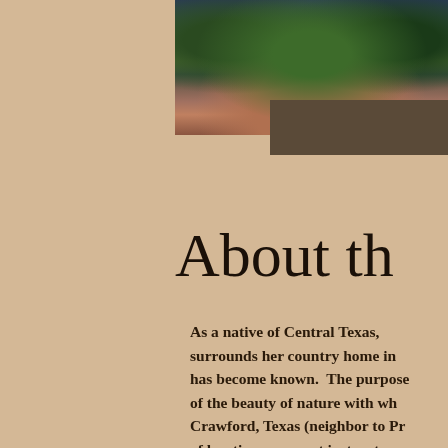[Figure (photo): Landscape painting or photograph showing bluebonnets and trees against a colorful sunset sky in Central Texas]
About th
As a native of Central Texas, surrounds her country home in has become known. The purpose of the beauty of nature with wh Crawford, Texas (neighbor to Pr of her time as an art instructor a musician and former piano teach